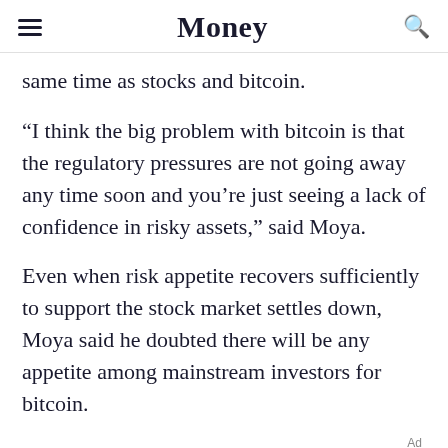Money
same time as stocks and bitcoin.
“I think the big problem with bitcoin is that the regulatory pressures are not going away any time soon and you’re just seeing a lack of confidence in risky assets,” said Moya.
Even when risk appetite recovers sufficiently to support the stock market settles down, Moya said he doubted there will be any appetite among mainstream investors for bitcoin.
Ad